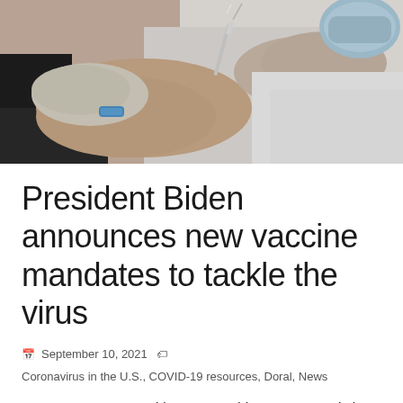[Figure (photo): Close-up photo of a healthcare worker in gloves and white coat administering a vaccine injection to a patient's arm, patient wearing a blue wristband, medical/clinical setting]
President Biden announces new vaccine mandates to tackle the virus
September 10, 2021   Coronavirus in the U.S., COVID-19 resources, Doral, News
DORAL, FL – President Joe Biden announced in a Thursday afternoon address from the White House new